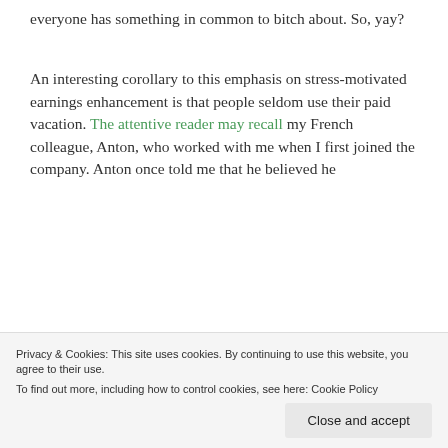everyone has something in common to bitch about. So, yay?
An interesting corollary to this emphasis on stress-motivated earnings enhancement is that people seldom use their paid vacation. The attentive reader may recall my French colleague, Anton, who worked with me when I first joined the company. Anton once told me that he believed he
Privacy & Cookies: This site uses cookies. By continuing to use this website, you agree to their use.
To find out more, including how to control cookies, see here: Cookie Policy
Close and accept